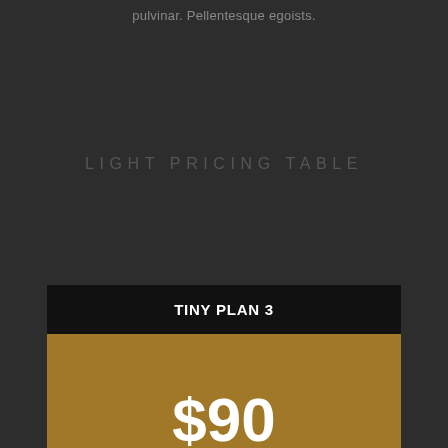pulvinar. Pellentesque egoists.
LIGHT PRICING TABLE
| TINY PLAN 3 |
| --- |
| $90 |
| 32 GB Storage |
| Enhanced Security |